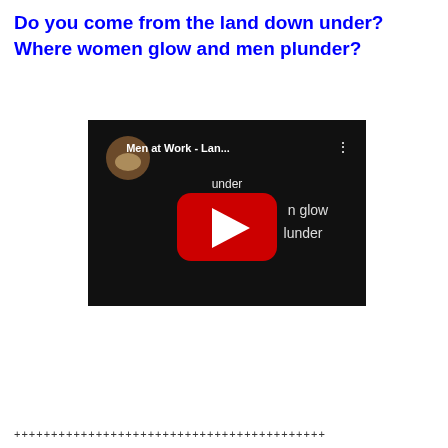Do you come from the land down under?
Where women glow and men plunder?
[Figure (screenshot): YouTube video thumbnail showing Men at Work - Land Down Under video with play button, title text 'Men at Work - Lan... under' and lyrics 'Where w...n glow and m...lunder' visible on dark background]
+++++++++++++++++++++++++++++++++++++++++